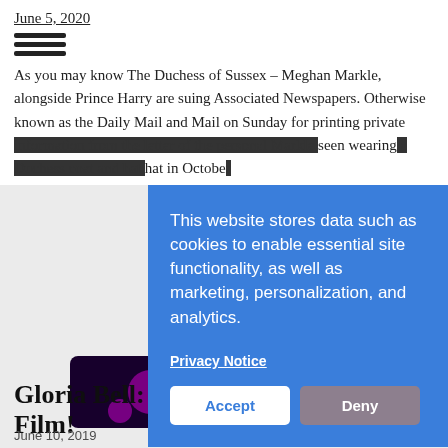June 5, 2020
[Figure (other): Hamburger menu icon — three horizontal lines]
As you may know The Duchess of Sussex – Meghan Markle, alongside Prince Harry are suing Associated Newspapers. Otherwise known as the Daily Mail and Mail on Sunday for printing private [obscured] seen wearing [obscured] hat in Octobe[r]
This website stores data such as cookies to enable essential site functionality, as well as marketing, personalization, and analytics.

Privacy Notice

Accept   Deny
[Figure (photo): Thumbnail image with purple/pink bokeh lights background]
Gloria Bell: New Julianne Moore Film!
June 10, 2019